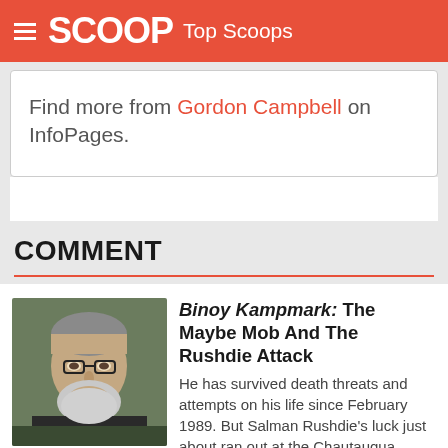SCOOP Top Scoops
Find more from Gordon Campbell on InfoPages.
COMMENT
Binoy Kampmark: The Maybe Mob And The Rushdie Attack
He has survived death threats and attempts on his life since February 1989. But Salman Rushdie's luck just about ran out at the Chautauqua Institution, southwest of Buffalo in New York State. On August 12...